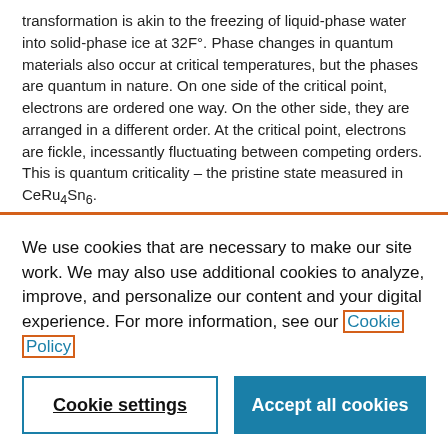transformation is akin to the freezing of liquid-phase water into solid-phase ice at 32F°. Phase changes in quantum materials also occur at critical temperatures, but the phases are quantum in nature. On one side of the critical point, electrons are ordered one way. On the other side, they are arranged in a different order. At the critical point, electrons are fickle, incessantly fluctuating between competing orders. This is quantum criticality – the pristine state measured in CeRu₄Sn₆.
"Usually, you have to work to achieve that condition," said Wes
We use cookies that are necessary to make our site work. We may also use additional cookies to analyze, improve, and personalize our content and your digital experience. For more information, see our Cookie Policy